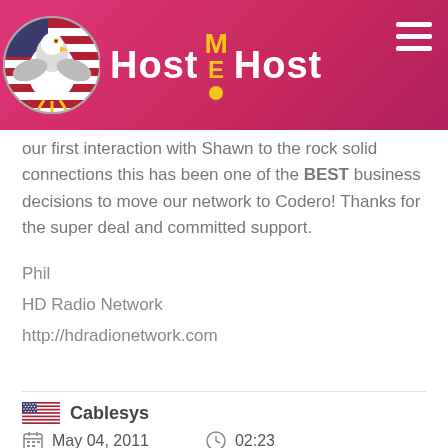[Figure (logo): HostMEHost website header with eagle logo, pink/magenta gradient background, and hamburger menu icon]
our first interaction with Shawn to the rock solid connections this has been one of the BEST business decisions to move our network to Codero! Thanks for the super deal and committed support.
Phil
HD Radio Network
http://hdradionetwork.com
Cablesys
May 04, 2011  02:23